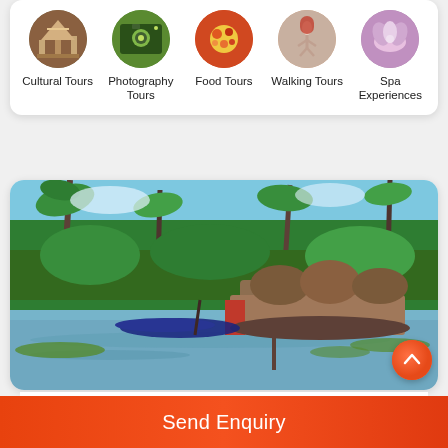[Figure (infographic): Navigation category icons row: Cultural Tours, Photography Tours, Food Tours, Walking Tours, Spa Experiences — each with a circular photo icon and label text]
[Figure (photo): Kerala backwaters scene with a traditional houseboat on calm water, lush green palm trees and vegetation in background, bright tropical sky]
12 Best Places to Visit in Kerala in November
[Figure (photo): Partial view of a second travel photo card below the main card]
Send Enquiry